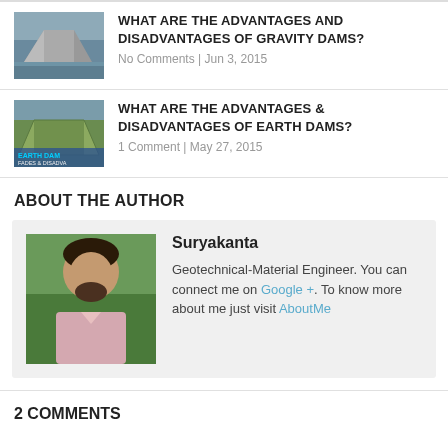[Figure (photo): Thumbnail of a gravity dam]
WHAT ARE THE ADVANTAGES AND DISADVANTAGES OF GRAVITY DAMS?
No Comments | Jun 3, 2015
[Figure (photo): Thumbnail of an earth dam with text overlay EARTH DAM FADES & DISADVA]
WHAT ARE THE ADVANTAGES & DISADVANTAGES OF EARTH DAMS?
1 Comment | May 27, 2015
ABOUT THE AUTHOR
[Figure (photo): Author photo of Suryakanta, a man with beard outdoors]
Suryakanta
Geotechnical-Material Engineer. You can connect me on Google +. To know more about me just visit AboutMe
2 COMMENTS